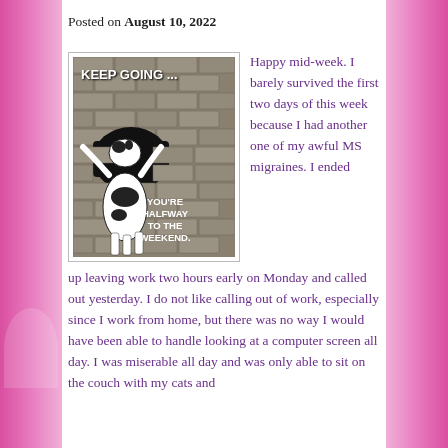Posted on August 10, 2022
[Figure (photo): Motivational image with a black and white cow/dog pushing through a brick wall, text reads KEEP GOING... YOU'RE HALFWAY TO THE WEEKEND.]
Happy mid-week. I barely survived the first two days of this week because I had another one of my awful MS migraines. I ended up leaving work two hours early on Monday and called out yesterday. I do not like calling out of work, especially since I work from home, but there was no way I would have been able to handle looking at a computer screen all day. I was miserable all day and was only able to sit on the couch with my cats and